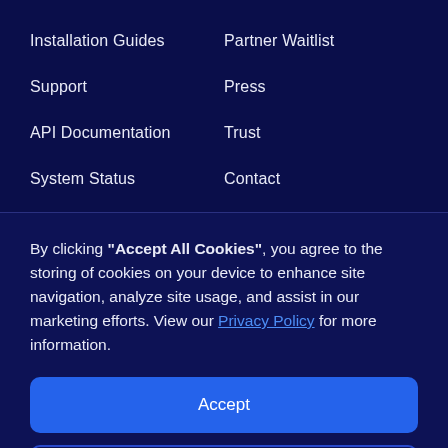Installation Guides
Partner Waitlist
Support
Press
API Documentation
Trust
System Status
Contact
By clicking "Accept All Cookies", you agree to the storing of cookies on your device to enhance site navigation, analyze site usage, and assist in our marketing efforts. View our Privacy Policy for more information.
Accept
Decline
Preferences